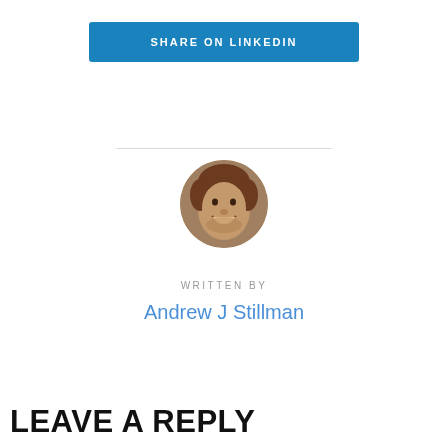[Figure (other): Blue 'SHARE ON LINKEDIN' button]
[Figure (photo): Circular profile photo of Andrew J Stillman, a smiling man with curly brown hair]
WRITTEN BY
Andrew J Stillman
LEAVE A REPLY